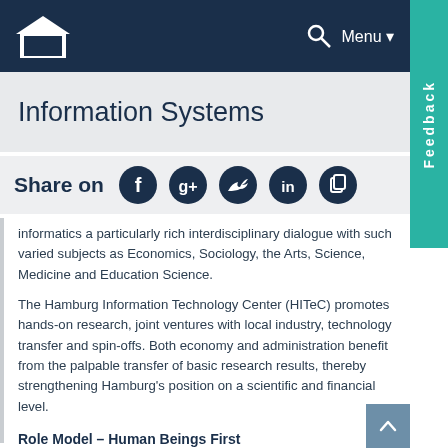Information Systems
Share on
informatics a particularly rich interdisciplinary dialogue with such varied subjects as Economics, Sociology, the Arts, Science, Medicine and Education Science.
The Hamburg Information Technology Center (HITeC) promotes hands-on research, joint ventures with local industry, technology transfer and spin-offs. Both economy and administration benefit from the palpable transfer of basic research results, thereby strengthening Hamburg's position on a scientific and financial level.
Role Model – Human Beings First